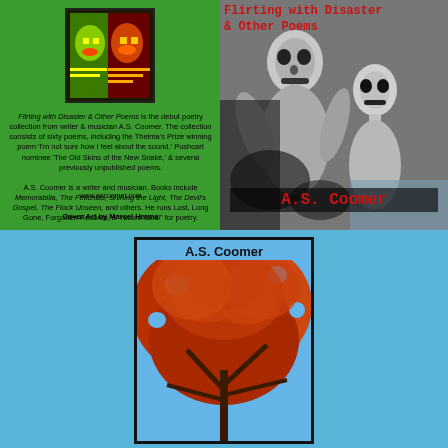[Figure (photo): Book cover back panel: small colorful illustrated book icon on green background]
Flirting with Disaster & Other Poems is the debut poetry collection from writer & musician A.S. Coomer. The collection consists of sixty poems, including the Thelma's Prize winning poem 'I'm not sure how I feel about the sound,' Pushcart nominee 'The Old Skins of the New Snake,' & several previously unpublished poems.

A.S. Coomer is a writer and musician. Books include Memorabilia, The Fetichids, Shining the Light, The Devil's Gospel, The Flock Unseen, and others. He runs Lost, Long Gone, Forgotten Records, a 'record label' for poetry.
www.ascoomer.com
Cover Art by Marcel Herms
[Figure (illustration): Book front cover: dark charcoal drawing of two skeletal/ghostly figures embracing, title 'Flirting with Disaster & Other Poems' in red monospaced font top right, author name 'A.S. Coomer' in red on dark banner at bottom]
[Figure (photo): Second book cover shown at bottom center: photo of red autumn tree leaves against blue sky, author name 'A.S. Coomer' in black text at top, framed with black border on blue background]